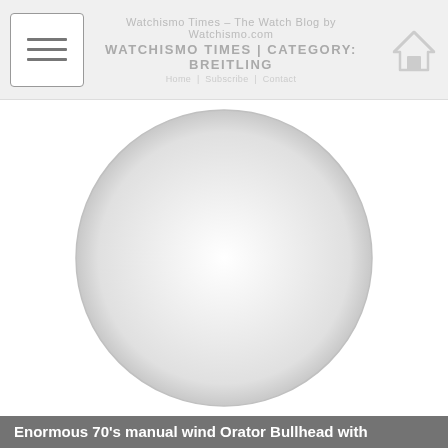WATCHISMO TIMES | CATEGORY: BREITLING
[Figure (photo): Loading placeholder image: a large light grey circle on a white background, representing an image that has not yet loaded]
Enormous 70's manual wind Orator Bullhead with